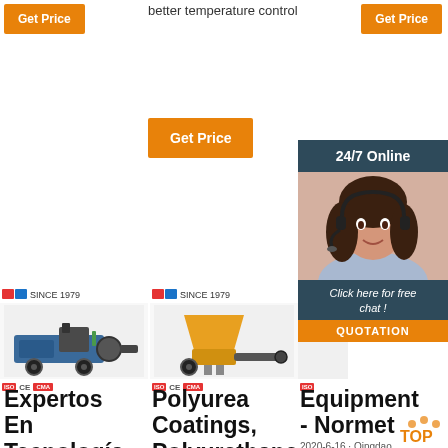[Figure (screenshot): Orange Get Price button top left]
better temperature control
[Figure (screenshot): Orange Get Price button top right]
[Figure (screenshot): Orange Get Price button center]
[Figure (photo): 24/7 Online chat widget with woman wearing headset, Click here for free chat!, QUOTATION button]
[Figure (photo): Machine product image left - pump equipment with MLS SINCE 1979 logo and CE CMA badges]
[Figure (photo): Machine product image center - yellow pump/coating equipment with MLS SINCE 1979 logo and CE CMA badges]
[Figure (photo): Machine product image right - partial view with MLS logo and badges]
Expertos En Tecnología De
Polyurea Coatings, Polyurethane Coatings
Equipment - Normet
2020-6-16 · Qingdao Dacang anticorrosion Coatings